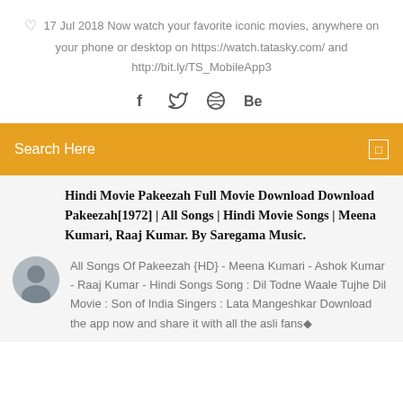17 Jul 2018 Now watch your favorite iconic movies, anywhere on your phone or desktop on https://watch.tatasky.com/ and http://bit.ly/TS_MobileApp3
[Figure (infographic): Social media icons: Facebook (f), Twitter (bird), Dribbble (ball), Behance (Be)]
Search Here
Hindi Movie Pakeezah Full Movie Download Download Pakeezah[1972] | All Songs | Hindi Movie Songs | Meena Kumari, Raaj Kumar. By Saregama Music.
All Songs Of Pakeezah {HD} - Meena Kumari - Ashok Kumar - Raaj Kumar - Hindi Songs Song : Dil Todne Waale Tujhe Dil Movie : Son of India Singers : Lata Mangeshkar Download the app now and share it with all the asli fans